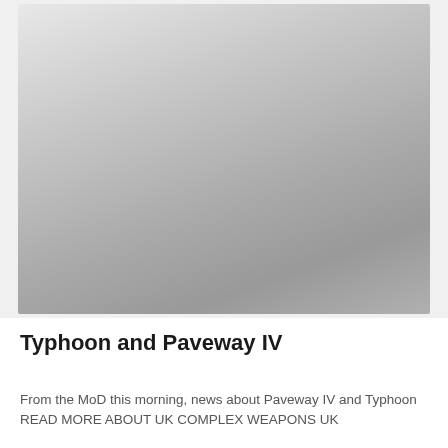[Figure (photo): A grey-toned photograph, largely obscured, showing indistinct imagery related to military aircraft or weapons. The image fades from light grey at the top to darker grey tones at the bottom.]
Typhoon and Paveway IV
From the MoD this morning, news about Paveway IV and Typhoon READ MORE ABOUT UK COMPLEX WEAPONS UK